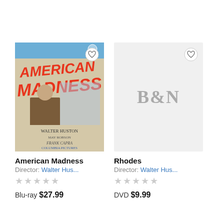[Figure (photo): American Madness Blu-ray cover showing movie poster with bold red title text over vintage illustrated imagery]
American Madness
Director: Walter Hus...
Blu-ray $27.99
[Figure (logo): B&N Barnes and Noble placeholder image with grey B&N text on light grey background]
Rhodes
Director: Walter Hus...
DVD $9.99